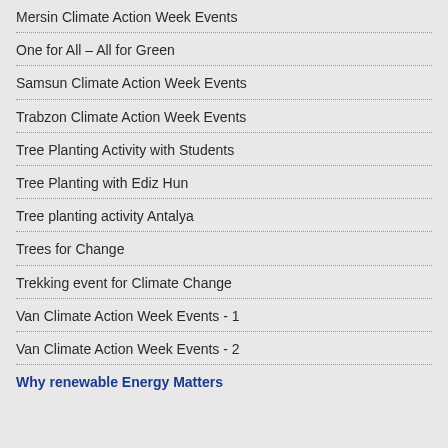Mersin Climate Action Week Events
One for All – All for Green
Samsun Climate Action Week Events
Trabzon Climate Action Week Events
Tree Planting Activity with Students
Tree Planting with Ediz Hun
Tree planting activity Antalya
Trees for Change
Trekking event for Climate Change
Van Climate Action Week Events - 1
Van Climate Action Week Events - 2
Why renewable Energy Matters